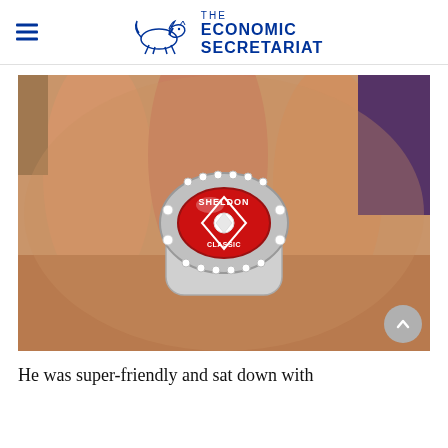THE ECONOMIC SECRETARIAT
[Figure (photo): A close-up photograph of a hand wearing a large championship-style ring with a red enamel center, silver setting with rhinestones, and text reading 'SHELDON' on the band.]
He was super-friendly and sat down with